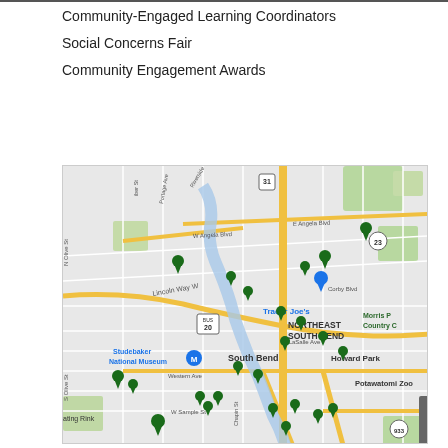Community-Engaged Learning Coordinators
Social Concerns Fair
Community Engagement Awards
[Figure (map): Google Maps view of South Bend, Indiana showing multiple green location pin markers scattered across the city, with labeled streets including Lincoln Way W, E Angela Blvd, W Angela Blvd, E LaSalle Ave, Western Ave, W Sample St, Corby Blvd. Landmarks labeled include Trader Joe's, Studebaker National Museum, Howard Park, Potawatomi Zoo, Morris Country Club, and a skating rink. Route markers for US-31, Bus-20, and route 23 and 933 visible.]